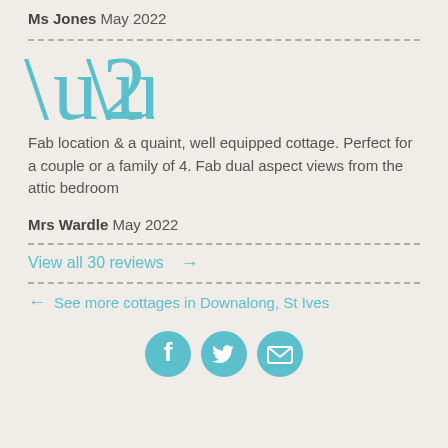Ms Jones May 2022
[Figure (illustration): Large teal opening and closing quotation marks decorative element]
Fab location & a quaint, well equipped cottage. Perfect for a couple or a family of 4. Fab dual aspect views from the attic bedroom
Mrs Wardle May 2022
View all 30 reviews →
← See more cottages in Downalong, St Ives
[Figure (illustration): Three teal circular social media icons: Facebook, Twitter, Email]